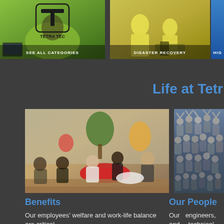[Figure (photo): Person in green Tetra Tech shirt with T logo, with label SEE ALL CATEGORIES]
[Figure (photo): Two people in yellow hazmat suits working, with label DISASTER RECOVERY]
[Figure (photo): Partial blue image with HIG label (partially cut off)]
Life at Tetr…
[Figure (photo): Group of employees seated in colorful modern office lounge area]
[Figure (photo): Large crowd of people with arms raised outdoors]
Benefits
Our People
Our employees’ welfare and work-life balance are critical
Our engineers, and technical